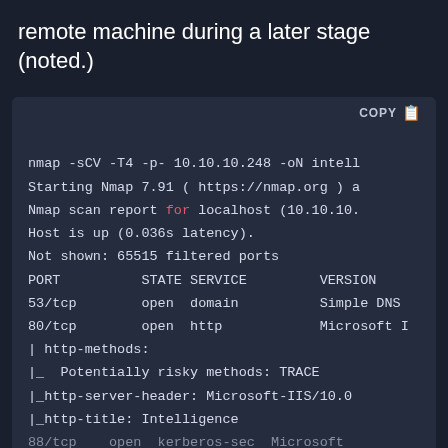remote machine during a later stage (noted.)
[Figure (screenshot): Terminal/code block showing nmap scan output with COPY button. Lines include: nmap -sCV -T4 -p- 10.10.10.248 -oN intel, Starting Nmap 7.91 ( https://nmap.org ) a, Nmap scan report for localhost (10.10.10., Host is up (0.036s latency)., Not shown: 65515 filtered ports, PORT STATE SERVICE VERSION, 53/tcp open domain Simple DNS, 80/tcp open http Microsoft I, | http-methods:, |_ Potentially risky methods: TRACE, |_http-server-header: Microsoft-IIS/10.0, |_http-title: Intelligence, 88/tcp open kerberos-sec Microsoft]